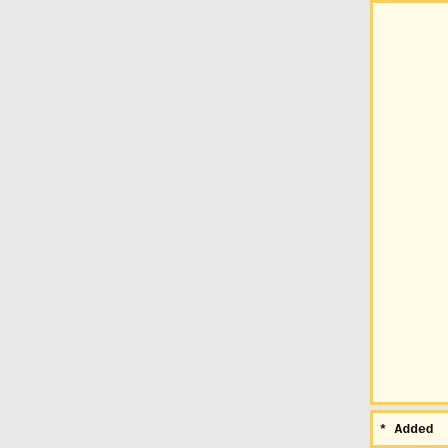able to extract and edit the "SectionDisplayName" column; change the "Default Action" column to "1" for all of the Assessment and Active Problems; and then load Note Definitions successfully.
* Added
* SSMT